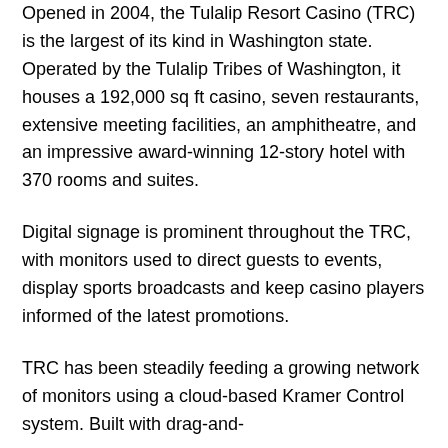Opened in 2004, the Tulalip Resort Casino (TRC) is the largest of its kind in Washington state. Operated by the Tulalip Tribes of Washington, it houses a 192,000 sq ft casino, seven restaurants, extensive meeting facilities, an amphitheatre, and an impressive award-winning 12-story hotel with 370 rooms and suites.
Digital signage is prominent throughout the TRC, with monitors used to direct guests to events, display sports broadcasts and keep casino players informed of the latest promotions.
TRC has been steadily feeding a growing network of monitors using a cloud-based Kramer Control system. Built with drag-and-